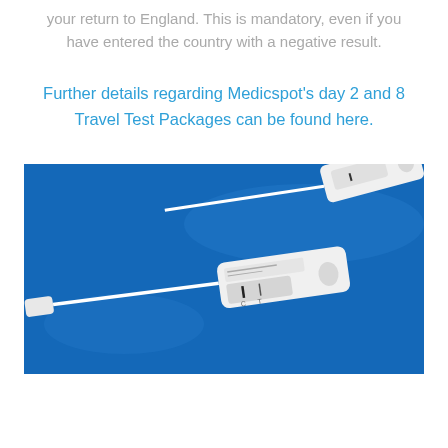your return to England. This is mandatory, even if you have entered the country with a negative result.
Further details regarding Medicspot's day 2 and 8 Travel Test Packages can be found here.
[Figure (photo): Photo of COVID-19 rapid antigen test devices (lateral flow tests) on a bright blue background, with swabs attached.]